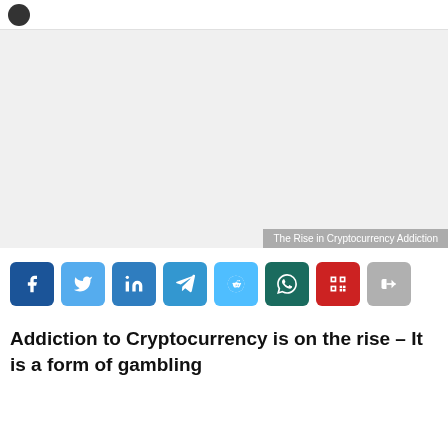[Figure (other): Large advertisement placeholder area (gray background)]
The Rise in Cryptocurrency Addiction
[Figure (infographic): Social share buttons row: Facebook, Twitter, LinkedIn, Telegram, Reddit, WhatsApp, QR code, Share]
Addiction to Cryptocurrency is on the rise – It is a form of gambling